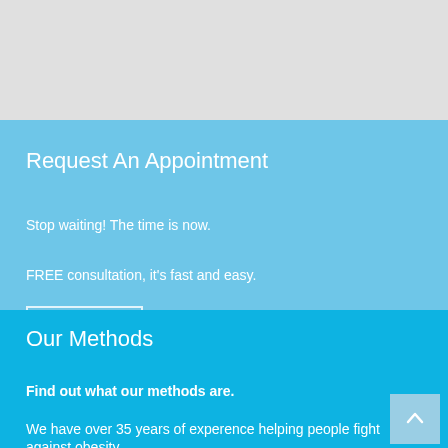[Figure (other): Gray banner header area at top of page]
Request An Appointment
Stop waiting! The time is now.
FREE consultation, it's fast and easy.
Click Here
Our Methods
Find out what our methods are.
We have over 35 years of experence helping people fight against obesity.